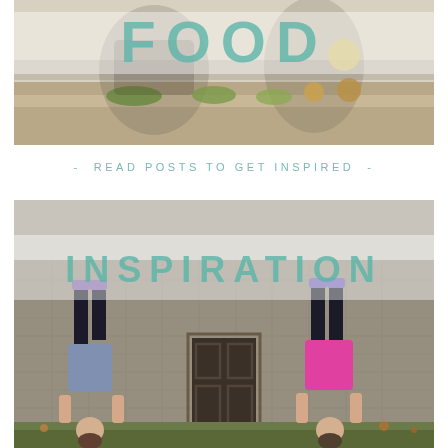[Figure (photo): Two people cooking in a kitchen with vegetables and produce on the counter; large semi-transparent 'FOOD' text overlay in teal over a white frosted band]
- READ POSTS TO GET INSPIRED -
[Figure (photo): Two people doing handstands against a stone wall building with a dark wooden door; large semi-transparent 'INSPIRATION' text overlay in teal over a white frosted band]